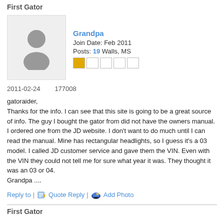First Gator
[Figure (illustration): Default user avatar icon (grey circle and torso silhouette on light grey background)]
Grandpa
Join Date: Feb 2011
Posts: 19 Walls, MS
2011-02-24        177008
gatoraider,
Thanks for the info. I can see that this site is going to be a great source of info. The guy I bought the gator from did not have the owners manual. I ordered one from the JD website. I don't want to do much until I can read the manual. Mine has rectangular headlights, so I guess it's a 03 model. I called JD customer service and gave them the VIN. Even with the VIN they could not tell me for sure what year it was. They thought it was an 03 or 04.
Grandpa ....
Reply to | Quote Reply | Add Photo
First Gator